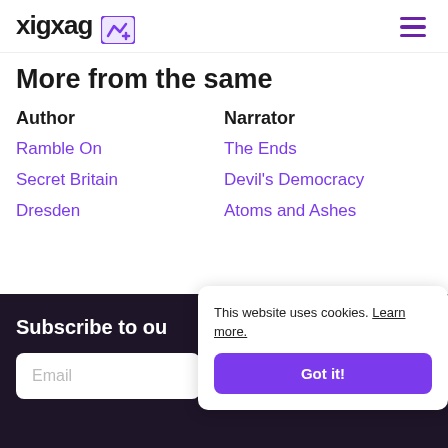xigxag
More from the same
Author
Ramble On
Secret Britain
Dresden
Narrator
The Ends
Devil's Democracy
Atoms and Ashes
Subscribe to our newsletter
Email
This website uses cookies. Learn more.
Got it!